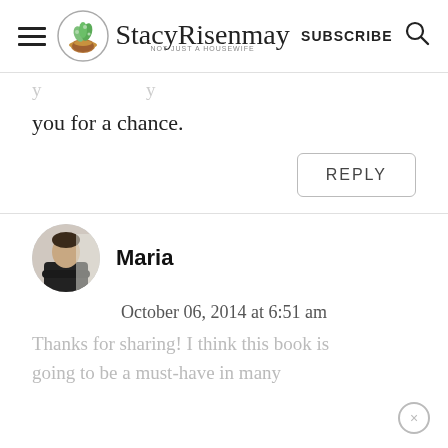StacyRisenmay — SUBSCRIBE
you for a chance.
REPLY
[Figure (photo): Circular avatar of Maria, a woman in a black turtleneck with arms crossed]
Maria
October 06, 2014 at 6:51 am
Thanks for sharing! I think this book is going to be a must-have in many